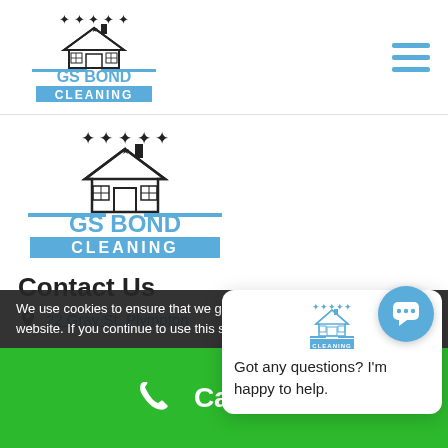[Figure (logo): GS Bond Cleaning logo in header - house with stars, blue text GS BOND CLEANING]
[Figure (logo): GS Bond Cleaning large logo - house with stars, blue text GS BOND CLEANING]
Contact Us
22 Gray St, Plympton
[Figure (screenshot): Chat popup widget with GS Bond Cleaning logo icon and message: Got any questions? I'm happy to help.]
We use cookies to ensure that we give you the best experience on our website. If you continue to use this site we will assume that you
Call Now